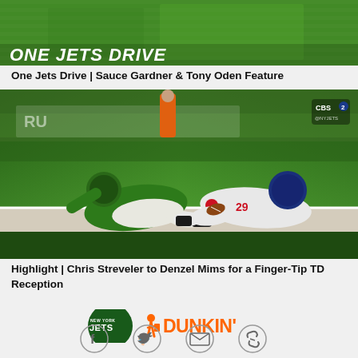[Figure (photo): Football field with green grass, text overlay reading ONE JETS DRIVE in white bold italic letters]
One Jets Drive | Sauce Gardner & Tony Oden Feature
[Figure (photo): Football game action shot: NY Jets player in green uniform diving/sliding on turf near out-of-bounds line, NY Giants player in white uniform also on ground, CBS2 logo visible in top right corner]
Highlight | Chris Streveler to Denzel Mims for a Finger-Tip TD Reception
[Figure (logo): New York Jets logo and Dunkin' Donuts logo side by side as sponsor]
[Figure (infographic): Social sharing icons: Facebook, Twitter, Email, Link]